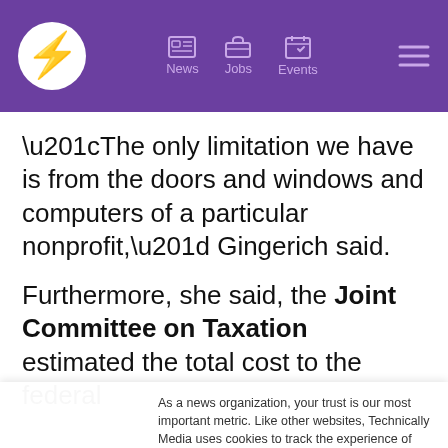News | Jobs | Events
“The only limitation we have is from the doors and windows and computers of a particular nonprofit,” Gingerich said.
Furthermore, she said, the Joint Committee on Taxation estimated the total cost to the federal
As a news organization, your trust is our most important metric. Like other websites, Technically Media uses cookies to track the experience of our readers, to better understand usage patterns and content preferences. We will not sell or rent your personal information to third parties. For more information or to contact us, read our entire Ethics & Privacy Policy.
Close